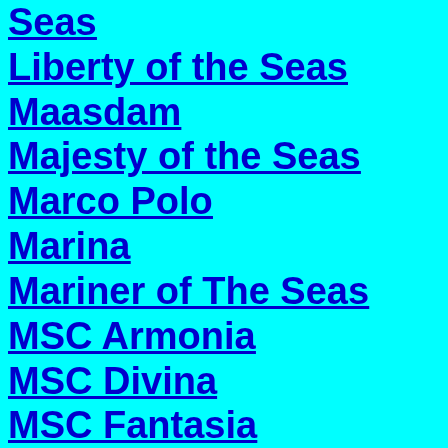Seas
Liberty of the Seas
Maasdam
Majesty of the Seas
Marco Polo
Marina
Mariner of The Seas
MSC Armonia
MSC Divina
MSC Fantasia
MSC Lirica
MSC Magnifica
MSC Melody
MSC Musica
MSC Opera
MSC